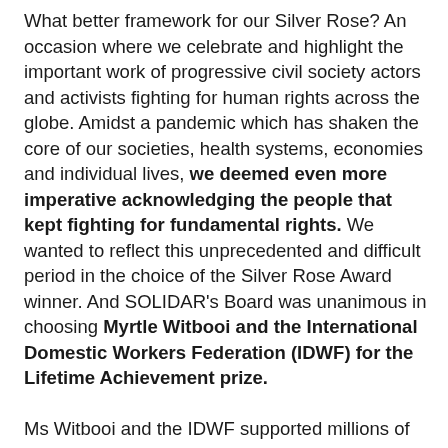What better framework for our Silver Rose? An occasion where we celebrate and highlight the important work of progressive civil society actors and activists fighting for human rights across the globe. Amidst a pandemic which has shaken the core of our societies, health systems, economies and individual lives, we deemed even more imperative acknowledging the people that kept fighting for fundamental rights. We wanted to reflect this unprecedented and difficult period in the choice of the Silver Rose Award winner. And SOLIDAR's Board was unanimous in choosing Myrtle Witbooi and the International Domestic Workers Federation (IDWF) for the Lifetime Achievement prize.

Ms Witbooi and the IDWF supported millions of